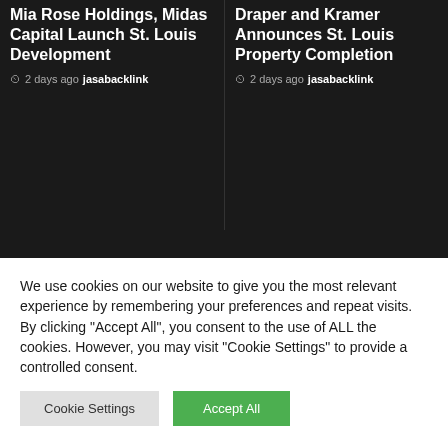Mia Rose Holdings, Midas Capital Launch St. Louis Development
2 days ago jasabacklink
Draper and Kramer Announces St. Louis Property Completion
2 days ago jasabacklink
[Figure (photo): Exterior photo of a multi-story residential building with gabled roofs against a blue sky with a tree visible]
We use cookies on our website to give you the most relevant experience by remembering your preferences and repeat visits. By clicking "Accept All", you consent to the use of ALL the cookies. However, you may visit "Cookie Settings" to provide a controlled consent.
Cookie Settings   Accept All